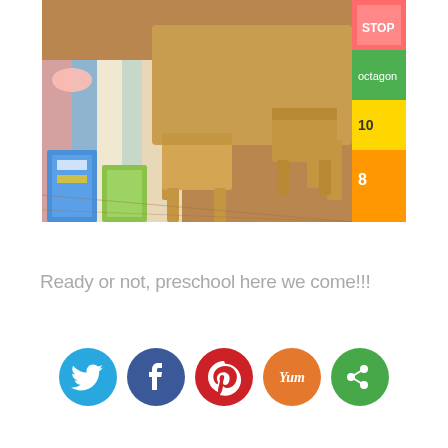[Figure (photo): A wooden children's table and chairs set on a colorful alphabet/numbers area rug in a preschool classroom, with books and educational materials visible]
Ready or not, preschool here we come!!!
[Figure (infographic): Social sharing icons row: Twitter (blue), Facebook (dark blue), Pinterest (red), Yummly (orange), More/Share (green)]